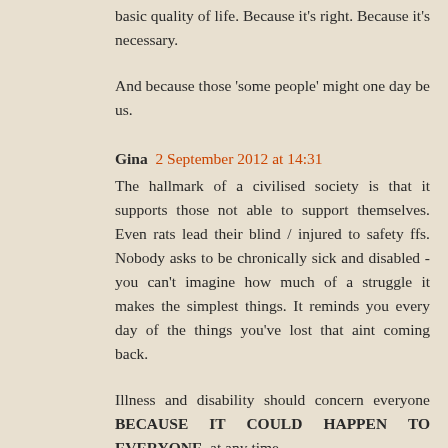basic quality of life. Because it's right. Because it's necessary.
And because those 'some people' might one day be us.
Gina  2 September 2012 at 14:31
The hallmark of a civilised society is that it supports those not able to support themselves. Even rats lead their blind / injured to safety ffs. Nobody asks to be chronically sick and disabled - you can't imagine how much of a struggle it makes the simplest things. It reminds you every day of the things you've lost that aint coming back.
Illness and disability should concern everyone BECAUSE IT COULD HAPPEN TO EVERYONE, at any time.
I have MS - fortunately relatively mild at the